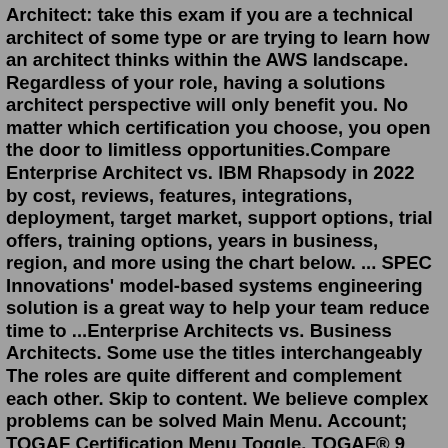Architect: take this exam if you are a technical architect of some type or are trying to learn how an architect thinks within the AWS landscape. Regardless of your role, having a solutions architect perspective will only benefit you. No matter which certification you choose, you open the door to limitless opportunities.Compare Enterprise Architect vs. IBM Rhapsody in 2022 by cost, reviews, features, integrations, deployment, target market, support options, trial offers, training options, years in business, region, and more using the chart below. ... SPEC Innovations' model-based systems engineering solution is a great way to help your team reduce time to ...Enterprise Architects vs. Business Architects. Some use the titles interchangeably The roles are quite different and complement each other. Skip to content. We believe complex problems can be solved Main Menu. Account; TOGAF Certification Menu Toggle. TOGAF® 9 Training Course;In its simplest definition, an enterprise architect is the business and